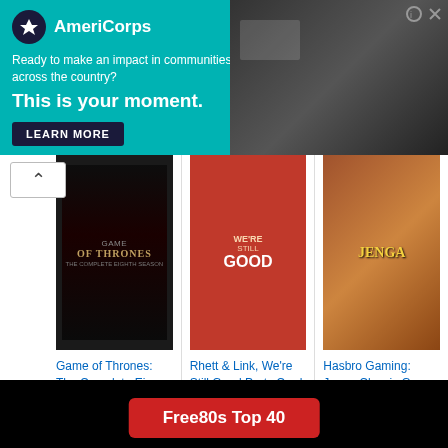[Figure (screenshot): AmeriCorps advertisement banner with teal background. Text reads 'Ready to make an impact in communities across the country? This is your moment.' with a LEARN MORE button and a photo of a person on the right.]
[Figure (screenshot): Amazon product advertisement showing three products: Game of Thrones Complete Eighth Season ($30.88, was $39.99, 4.5 stars, 411 reviews), Rhett & Link We're Still Good Party Card Game Comedy ($21.99, Prime), and Hasbro Gaming Jenga Classic Game ($12.44, Prime, 4.5 stars, 66392 reviews). An 'Ads by Amazon' label appears below.]
[Figure (screenshot): Website interface showing dark/black navigation area with horizontal lines and a red button labeled 'Free80s Top 40']